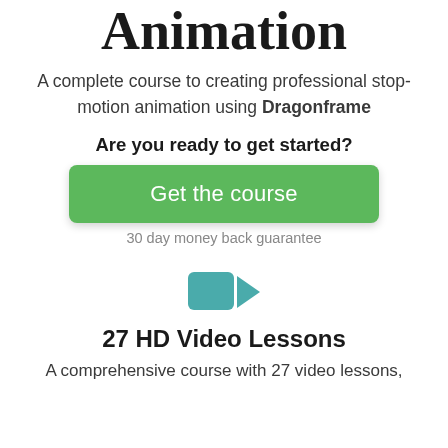Animation
A complete course to creating professional stop-motion animation using Dragonframe
Are you ready to get started?
[Figure (other): Green call-to-action button labeled 'Get the course']
30 day money back guarantee
[Figure (other): Teal video camera icon]
27 HD Video Lessons
A comprehensive course with 27 video lessons,